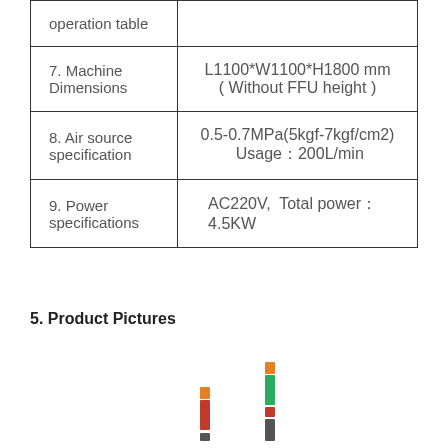| Specification | Value |
| --- | --- |
| operation table |  |
| 7. Machine Dimensions | L1100*W1100*H1800 mm ( Without FFU height ) |
| 8. Air source specification | 0.5-0.7MPa(5kgf-7kgf/cm2)  Usage：200L/min |
| 9. Power specifications | AC220V,  Total power： 4.5KW |
5. Product Pictures
[Figure (photo): Product photos showing two tower light indicators at the bottom of the page]